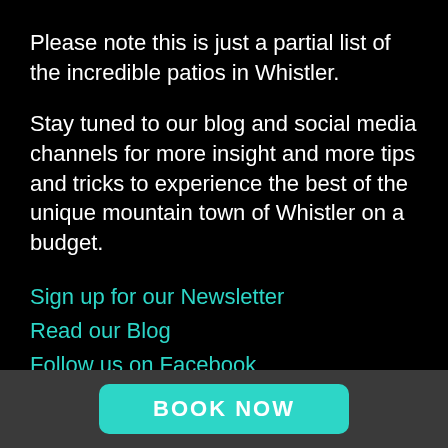Please note this is just a partial list of the incredible patios in Whistler.
Stay tuned to our blog and social media channels for more insight and more tips and tricks to experience the best of the unique mountain town of Whistler on a budget.
Sign up for our Newsletter
Read our Blog
Follow us on Facebook
Follow us on Instagram
Follow us on Twitter
BOOK NOW